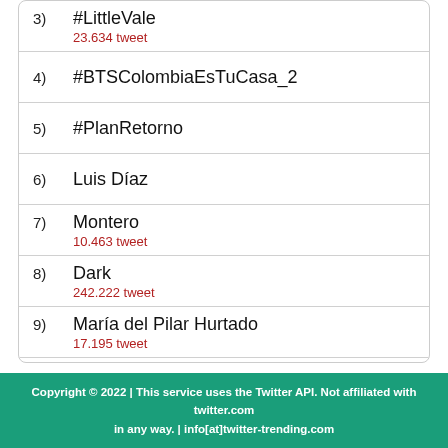3) #LittleVale
23.634 tweet
4) #BTSColombiaEsTuCasa_2
5) #PlanRetorno
6) Luis Díaz
7) Montero
10.463 tweet
8) Dark
242.222 tweet
9) María del Pilar Hurtado
17.195 tweet
10) Diaz
39.667 tweet
Copyright © 2022 | This service uses the Twitter API. Not affiliated with twitter.com in any way. | info[at]twitter-trending.com